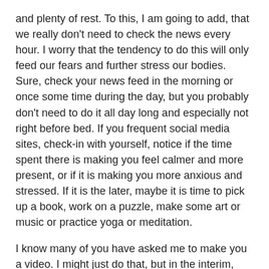and plenty of rest.  To this, I am going to add, that we really don't need to check the news every hour.  I worry that the tendency to do this will only feed our fears and further stress our bodies.  Sure, check your news feed in the morning or once some time during the day, but you probably don't need to do it all day long and especially not right before bed.  If you frequent social media sites, check-in with yourself, notice if the time spent there is making you feel calmer and more present, or if it is making you more anxious and stressed.  If it is the later, maybe it is time to pick up a book, work on a puzzle, make some art or music or practice yoga or meditation.
I know many of you have asked me to make you a video.  I might just do that, but in the interim, there are so many very good offerings out there, I encourage you to explore them.
If you don't have a home practice, and just want some coaching and guidance and want to feel like you are part of a class, there are numerous online yoga and meditation resources that have